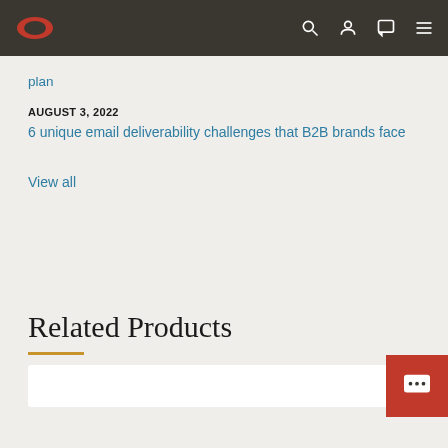Oracle website navigation bar
plan
AUGUST 3, 2022
6 unique email deliverability challenges that B2B brands face
View all
Related Products